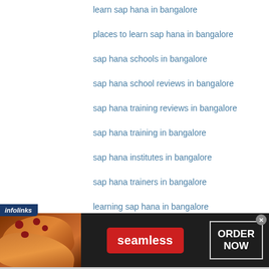learn sap hana in bangalore
places to learn sap hana in bangalore
sap hana schools in bangalore
sap hana school reviews in bangalore
sap hana training reviews in bangalore
sap hana training in bangalore
sap hana institutes in bangalore
sap hana trainers in bangalore
learning sap hana in bangalore
where to learn sap hana in bangalore
[Figure (screenshot): Infolinks advertisement banner for Seamless food ordering service, showing pizza image on left, red Seamless button in center, and ORDER NOW button on right, on dark background]